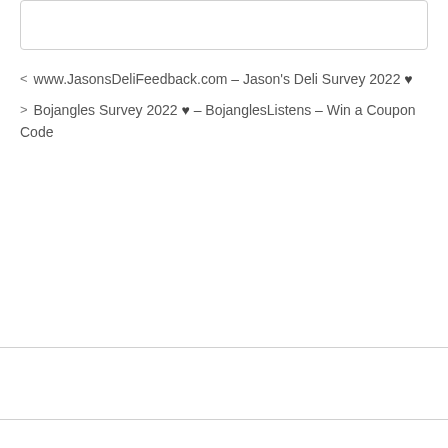< www.JasonsDeliFeedback.com – Jason's Deli Survey 2022 ♥
> Bojangles Survey 2022 ♥ – BojanglesListens – Win a Coupon Code